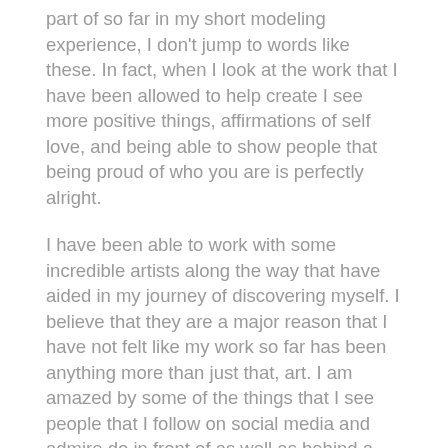part of so far in my short modeling experience, I don't jump to words like these. In fact, when I look at the work that I have been allowed to help create I see more positive things, affirmations of self love, and being able to show people that being proud of who you are is perfectly alright.
I have been able to work with some incredible artists along the way that have aided in my journey of discovering myself. I believe that they are a major reason that I have not felt like my work so far has been anything more than just that, art. I am amazed by some of the things that I see people that I follow on social media and admire do in front of as well as behind a camera, composition that I can't imagine anyone putting a negative connotation to. I have also met like minded people that are so supportive of each other.